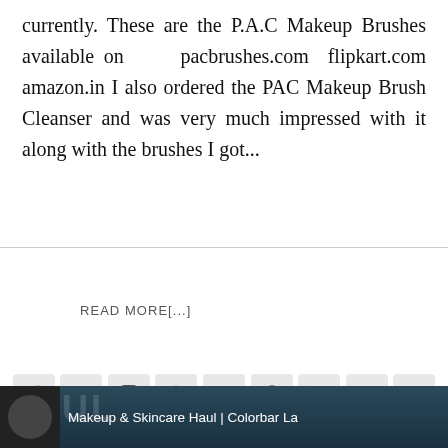currently. These are the P.A.C Makeup Brushes available on pacbrushes.com flipkart.com amazon.in I also ordered the PAC Makeup Brush Cleanser and was very much impressed with it along with the brushes I got...
READ MORE[...]
[Figure (other): Social media sharing icons: Facebook, Twitter, Instagram, Pinterest, Google+, Reddit, LinkedIn, Delicious, Email]
[Figure (photo): Bottom thumbnail image showing a woman with text overlay: Makeup & Skincare Haul | Colorbar La with HAUL text watermark]